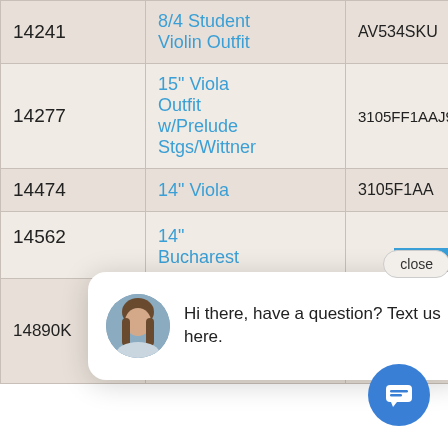| ID | Product Name | SKU |
| --- | --- | --- |
| 14241 | 8/4 Student Violin Outfit | AV534SKU |
| 14277 | 15" Viola Outfit w/Prelude Stgs/Wittner | 3105FF1AAJ910MM |
| 14474 | 14" Viola | 3105F1AA |
| 14562 | 14" Bucharest |  |
| 14890K | 3/4 Bucharest Violin Outfit w/Wittner | 4KT1AA/286 |
[Figure (screenshot): Chat widget popup with avatar photo of a woman with long brown hair, speech bubble saying 'Hi there, have a question? Text us here.' with a close button and a blue chat icon circle at bottom right.]